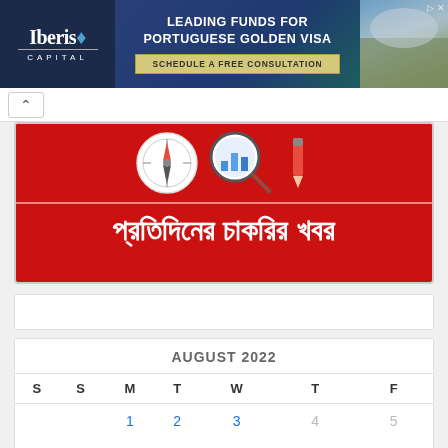[Figure (other): Iberis Capital advertisement: Leading Funds for Portuguese Golden Visa. Schedule a Free Consultation. Shows city skyline background.]
[Figure (other): Red banner image with compass and magnifying glass icons, with Bengali text reading 'প্রতিদিনের চাকরির খবর' (Daily Job News)]
| S | S | M | T | W | T | F |
| --- | --- | --- | --- | --- | --- | --- |
|  |  | 1 | 2 | 3 | 4 | 5 |
| 6 | 7 | 8 | 9 | 10 | 11 | 12 |